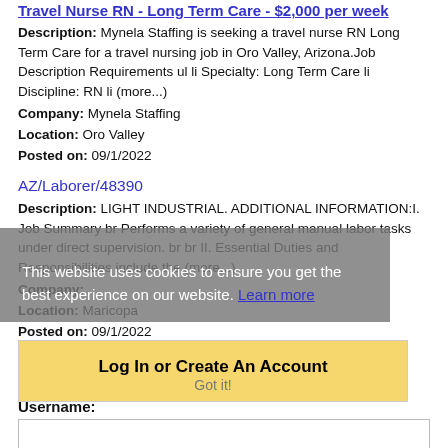Travel Nurse RN - Long Term Care - $2,000 per week
Description: Mynela Staffing is seeking a travel nurse RN Long Term Care for a travel nursing job in Oro Valley, Arizona.Job Description Requirements ul li Specialty: Long Term Care li Discipline: RN li (more...)
Company: Mynela Staffing
Location: Oro Valley
Posted on: 09/1/2022
AZ/Laborer/48390
Description: LIGHT INDUSTRIAL. ADDITIONAL INFORMATION:I. Job Summary br Performs a variety of general manual labor tasks under direct supervision. br br II. Essential Duties and Responsibilities include the (more...)
Company:
Location: Maricopa
Posted on: 09/1/2022
Loading more jobs.
This website uses cookies to ensure you get the best experience on our website. Learn more
Log In or Create An Account
Got it!
Username: